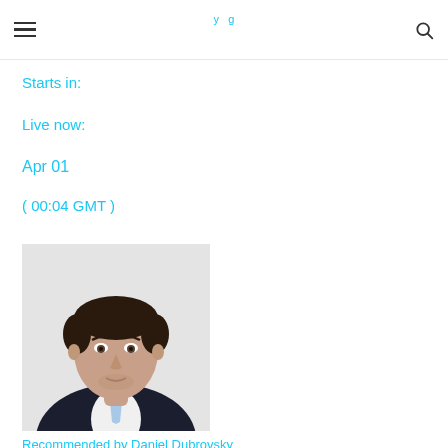Starts in:
Live now:
Apr 01
( 00:04 GMT )
[Figure (photo): Headshot photo of Daniel Dubrovsky, a young man in a dark suit with a light blue tie, light background]
Recommended by Daniel Dubrovsky